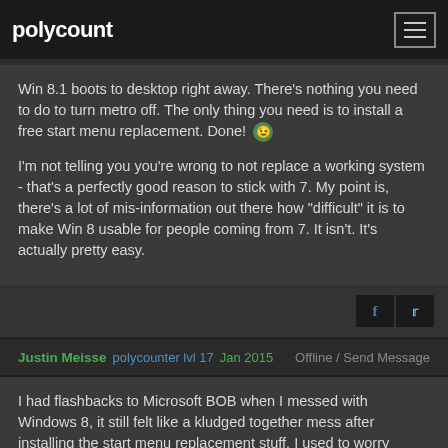polycount
Win 8.1 boots to desktop right away. There's nothing you need to do to turn metro off. The only thing you need is to install a free start menu replacement. Done! 😉

I'm not telling you you're wrong to not replace a working system - that's a perfectly good reason to stick with 7. My point is, there's a lot of mis-information out there how "difficult" it is to make Win 8 usable for people coming from 7. It isn't. It's actually pretty easy.
Justin Meisse  polycounter lvl 17  Jan 2015  Offline / Send Message
I had flashbacks to Microsoft BOB when I messed with Windows 8, it still felt like a kludged together mess after installing the start menu replacement stuff. I used to worry